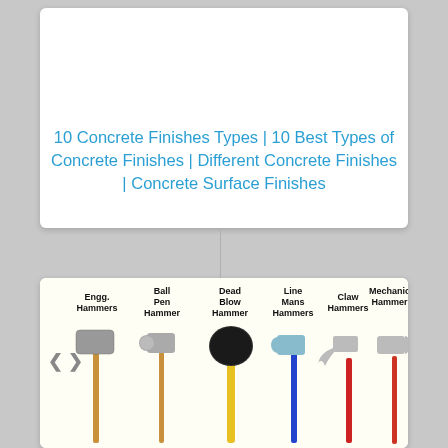10 Concrete Finishes Types | 10 Best Types of Concrete Finishes | Different Concrete Finishes | Concrete Surface Finishes
[Figure (illustration): Six types of hammers displayed side by side with labels: Engg. Hammers, Ball Pen Hammer, Dead Blow Hammer, Line Mans Hammers, Claw Hammers, Mechanics Hammers. Each hammer is shown with its handle and head in different colors/styles.]